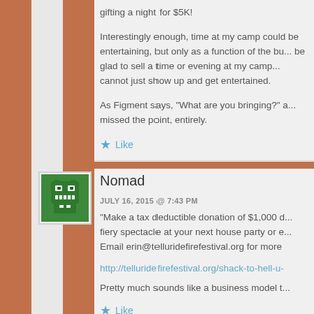Interestingly enough, time at my camp could be entertaining, but only as a function of the bu... be glad to sell a time or evening at my camp... cannot just show up and get entertained.
As Figment says, “What are you bringing?” a... missed the point, entirely.
Like
Nomad
JULY 16, 2015 @ 7:43 PM
“Make a tax deductible donation of $1,000 d... fiery spectacle at your next house party or e... Email erin@telluridefirefestival.org for more
http://telluridefirefestival.org/shack-to-hell-u-
Pretty much sounds like a business model t...
Like